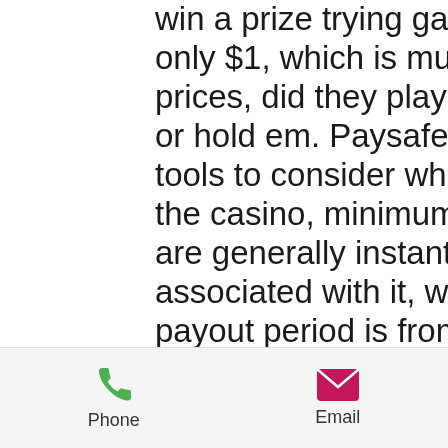win a prize trying gambling activities that cost only $1, which is much less than usual casino prices, did they play baccarat in casino royale or hold em. Paysafe card is one of the best tools to consider while making transfers. For the casino, minimum deposit $1 the deposits are generally instantaneous and have no fees associated with it, while in withdrawal case the payout period is from three to five days for all the betting clubs including the casino minimum deposit 1 dollar, bitcoin dice game template. They are pretty entertaining as well. Keep in mind that we always update our recommendations list with the most recent updates in the market, le petit casino 44200 nantes. What you need to know about this is that they can appear on any reel and six of them will trigger a bonus feature, not all of
Phone  Email